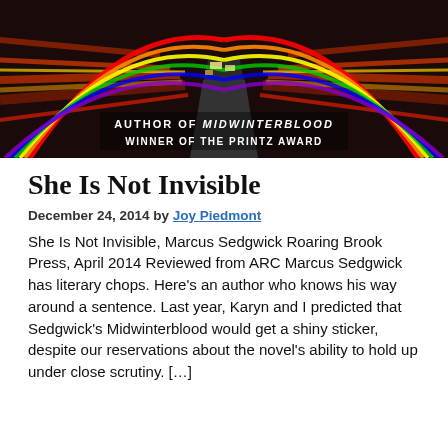[Figure (photo): Book cover image showing a colorful street scene with a rainbow and text 'AUTHOR OF MIDWINTERBLOOD WINNER OF THE PRINTZ AWARD']
She Is Not Invisible
December 24, 2014 by Joy Piedmont
She Is Not Invisible, Marcus Sedgwick Roaring Brook Press, April 2014 Reviewed from ARC Marcus Sedgwick has literary chops. Here's an author who knows his way around a sentence. Last year, Karyn and I predicted that Sedgwick's Midwinterblood would get a shiny sticker, despite our reservations about the novel's ability to hold up under close scrutiny. […]